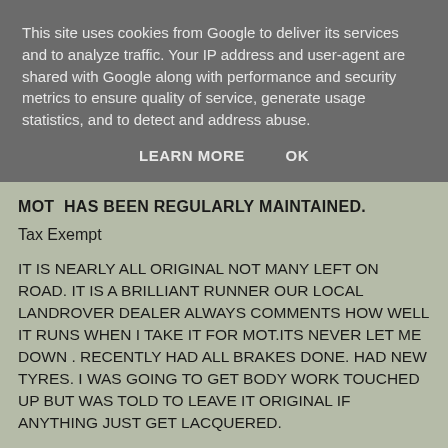This site uses cookies from Google to deliver its services and to analyze traffic. Your IP address and user-agent are shared with Google along with performance and security metrics to ensure quality of service, generate usage statistics, and to detect and address abuse.
LEARN MORE    OK
MOT  HAS BEEN REGULARLY MAINTAINED.
Tax Exempt
IT IS NEARLY ALL ORIGINAL NOT MANY LEFT ON ROAD. IT IS A BRILLIANT RUNNER OUR LOCAL LANDROVER DEALER ALWAYS COMMENTS HOW WELL IT RUNS WHEN I TAKE IT FOR MOT.ITS NEVER LET ME DOWN . RECENTLY HAD ALL BRAKES DONE. HAD NEW TYRES. I WAS GOING TO GET BODY WORK TOUCHED UP BUT WAS TOLD TO LEAVE IT ORIGINAL IF ANYTHING JUST GET LACQUERED.